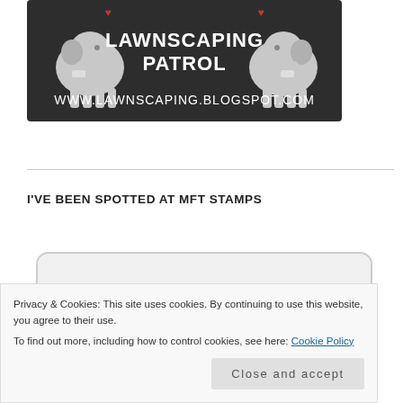[Figure (illustration): Lawnscaping Patrol banner with two cartoon elephants on dark chalkboard background, text reads 'LAWNSCAPING PATROL' and 'WWW.LAWNSCAPING.BLOGSPOT.COM']
I'VE BEEN SPOTTED AT MFT STAMPS
[Figure (illustration): Badge/graphic with bold text reading 'I'VE BEEN SPOTTED' in dark grey on light grey rounded rectangle background]
Privacy & Cookies: This site uses cookies. By continuing to use this website, you agree to their use.
To find out more, including how to control cookies, see here: Cookie Policy
Close and accept